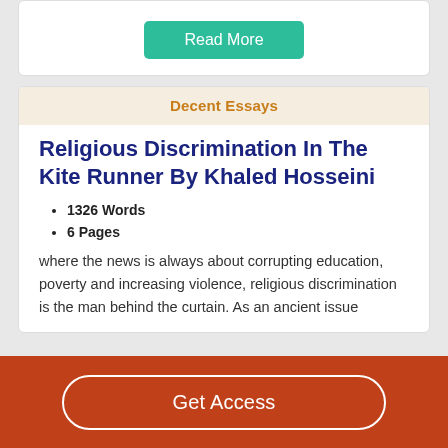[Figure (other): Read More button (teal/green rounded rectangle) at top of page]
Decent Essays
Religious Discrimination In The Kite Runner By Khaled Hosseini
1326 Words
6 Pages
where the news is always about corrupting education, poverty and increasing violence, religious discrimination is the man behind the curtain. As an ancient issue
[Figure (other): Get Access button (white outlined rounded pill on brown/red background bar at bottom)]